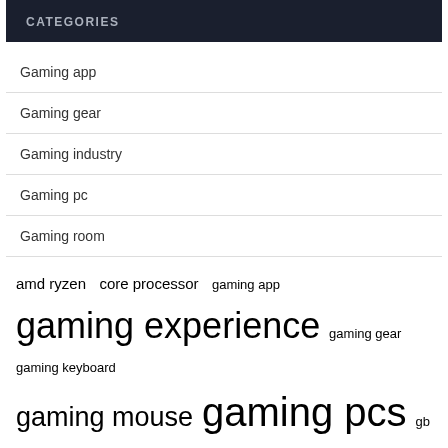CATEGORIES
Gaming app
Gaming gear
Gaming industry
Gaming pc
Gaming room
amd ryzen  core processor  gaming app  gaming experience  gaming gear  gaming keyboard  gaming mouse  gaming pcs  gb ram  geforce rtx  graphics cards  intel core  nvidia geforce  pc gaming  power supply